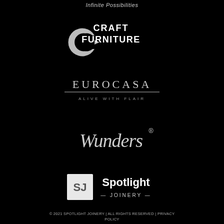Infinite Possibilities
[Figure (logo): Craft Furniture logo: stylized C/G icon with text CRAFT FURNITURE in white on black background]
[Figure (logo): EUROCASA logo: all-caps serif text with tagline ALIVE WITH FLAIR and horizontal line beneath, white on black]
[Figure (logo): Wunders script logo in cursive/signature style with registered trademark symbol, white on black]
[Figure (logo): Spotlight Joinery logo: white square with SJ in grey, next to text Spotlight and — JOINERY —]
© 2021 SPOTLIGHT JOINERY | ALL RIGHTS RESERVED | PRIVACY POLICY